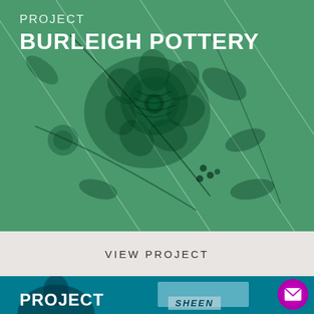[Figure (photo): Green toned close-up photograph of floral pottery pattern with flowers, leaves and vines on a ceramic surface with diagonal lines]
PROJECT
BURLEIGH POTTERY
VIEW PROJECT
[Figure (photo): Teal/cyan toned photograph showing a woman's face partially visible and a sign reading SHEEN in the background]
PROJECT